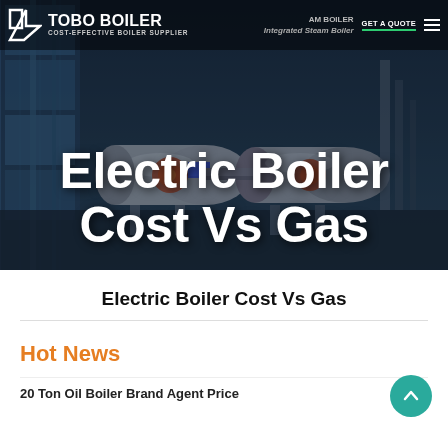[Figure (screenshot): Tobo Boiler website hero banner showing industrial steam boilers in background with navigation bar at top containing logo, 'AM BOILER', 'COST-EFFECTIVE BOILER SUPPLIER', 'Integrated Steam Boiler', 'GET QUOTE' button and hamburger menu icon]
Electric Boiler Cost Vs Gas
Electric Boiler Cost Vs Gas
Hot News
20 Ton Oil Boiler Brand Agent Price